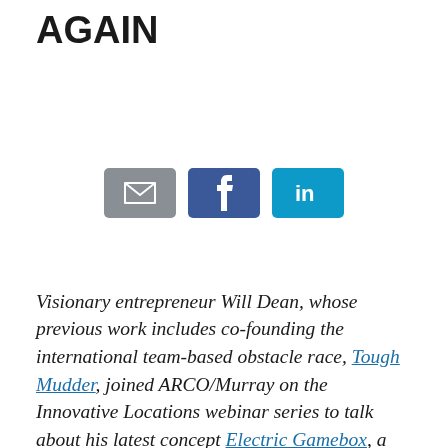AGAIN
[Figure (infographic): Social sharing buttons: email (grey), Facebook (dark blue), LinkedIn (light blue)]
Visionary entrepreneur Will Dean, whose previous work includes co-founding the international team-based obstacle race, Tough Mudder, joined ARCO/Murray on the Innovative Locations webinar series to talk about his latest concept Electric Gamebox, a virtual gaming destination that doesn't use VR glasses. After proven success in the UK, Dean, who is co-founder and CEO, is